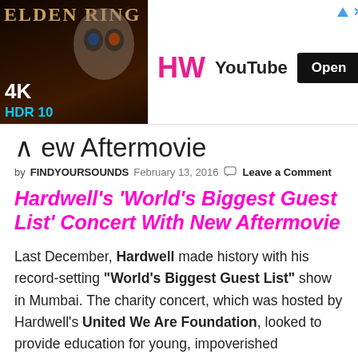[Figure (screenshot): Advertisement banner for Elden Ring 4K HDR 10 game, showing a skull character on left, HW YouTube logo in center, and an Open button on right]
New Aftermovie
by FINDYOURSOUNDS   February 13, 2016   Leave a Comment
Hardwell's 'World's Biggest Guest List' Concert With New Aftermovie
Last December, Hardwell made history with his record-setting "World's Biggest Guest List" show in Mumbai. The charity concert, which was hosted by Hardwell's United We Are Foundation, looked to provide education for young, impoverished